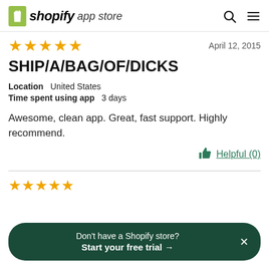shopify app store
[Figure (other): Five gold stars rating]
April 12, 2015
SHIP/A/BAG/OF/DICKS
Location   United States
Time spent using app   3 days
Awesome, clean app. Great, fast support. Highly recommend.
Helpful (0)
[Figure (other): Partial gold stars for next review]
Don't have a Shopify store? Start your free trial →